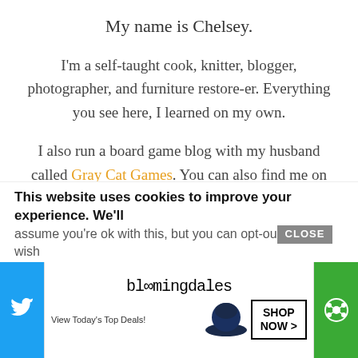My name is Chelsey.
I'm a self-taught cook, knitter, blogger, photographer, and furniture restore-er. Everything you see here, I learned on my own.
I also run a board game blog with my husband called Gray Cat Games. You can also find me on Growing Up Gabel as a contributing author.
You can read more about me or see my
This website uses cookies to improve your experience. We'll assume you're ok with this, but you can opt-out if you wish.
[Figure (screenshot): Bloomingdale's advertisement banner at the bottom of the page with Twitter and green share buttons on either side.]